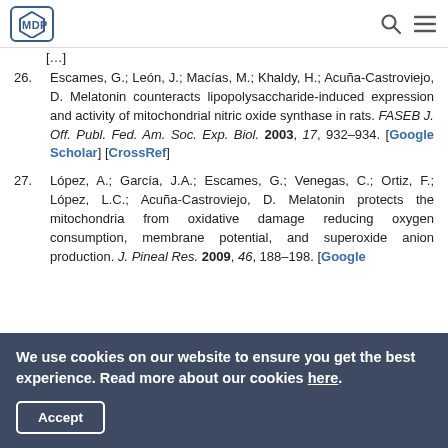MDPI
26. Escames, G.; León, J.; Macías, M.; Khaldy, H.; Acuña-Castroviejo, D. Melatonin counteracts lipopolysaccharide-induced expression and activity of mitochondrial nitric oxide synthase in rats. FASEB J. Off. Publ. Fed. Am. Soc. Exp. Biol. 2003, 17, 932–934. [Google Scholar] [CrossRef]
27. López, A.; García, J.A.; Escames, G.; Venegas, C.; Ortiz, F.; López, L.C.; Acuña-Castroviejo, D. Melatonin protects the mitochondria from oxidative damage reducing oxygen consumption, membrane potential, and superoxide anion production. J. Pineal Res. 2009, 46, 188–198. [Google
We use cookies on our website to ensure you get the best experience. Read more about our cookies here.
Accept